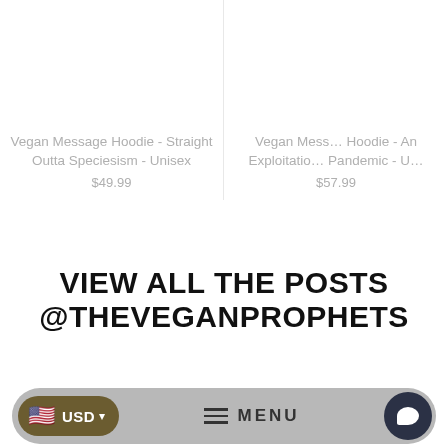Vegan Message Hoodie - Straight Outta Speciesism - Unisex
$49.99
Vegan Message Hoodie - An Exploitation Pandemic - U
$57.99
VIEW ALL THE POSTS @THEVEGANPROPHETS
USD | MENU